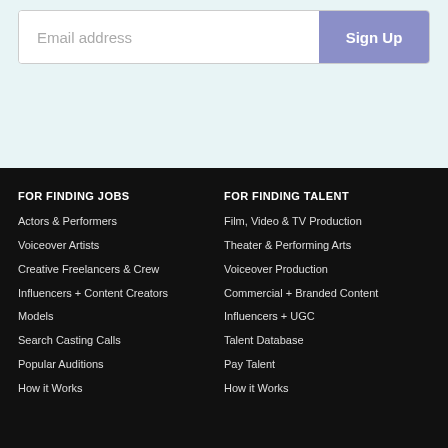[Figure (screenshot): Email address input field with a 'Sign Up' button on the right, on a light teal background]
FOR FINDING JOBS
Actors & Performers
Voiceover Artists
Creative Freelancers & Crew
Influencers + Content Creators
Models
Search Casting Calls
Popular Auditions
How it Works
FOR FINDING TALENT
Film, Video & TV Production
Theater & Performing Arts
Voiceover Production
Commercial + Branded Content
Influencers + UGC
Talent Database
Pay Talent
How it Works